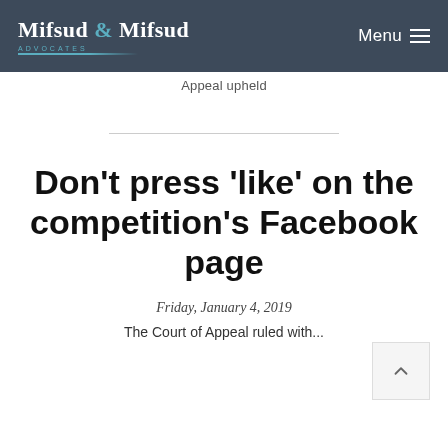Mifsud & Mifsud Advocates — Menu
Appeal upheld
Don't press 'like' on the competition's Facebook page
Friday, January 4, 2019
The Court of Appeal ruled with...